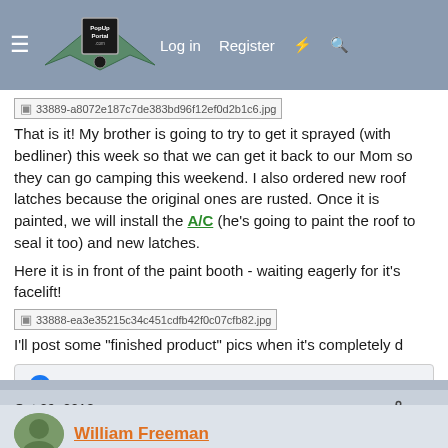PopUpPortal.com | Log in | Register
[Figure (screenshot): Broken image placeholder with filename: 33889-a8072e187c7de383bd96f12ef0d2b1c6.jpg]
That is it! My brother is going to try to get it sprayed (with bedliner) this week so that we can get it back to our Mom so they can go camping this weekend. I also ordered new roof latches because the original ones are rusted. Once it is painted, we will install the A/C (he's going to paint the roof to seal it too) and new latches.

Here it is in front of the paint booth - waiting eagerly for it's facelift!
[Figure (screenshot): Broken image placeholder with filename: 33888-ea3e35215c34c451cdfb42f0c07cfb82.jpg]
I'll post some "finished product" pics when it's completely d
gail58
Oct 29, 2018  #5
William Freeman